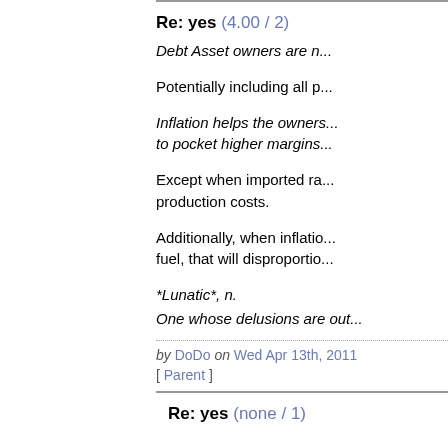Re: yes (4.00 / 2)
Debt Asset owners are n...
Potentially including all p...
Inflation helps the owners... to pocket higher margins...
Except when imported ra... production costs.
Additionally, when inflatio... fuel, that will disproportio...
*Lunatic*, n.
One whose delusions are out...
by DoDo on Wed Apr 13th, 2011
[ Parent ]
Re: yes (none / 1)